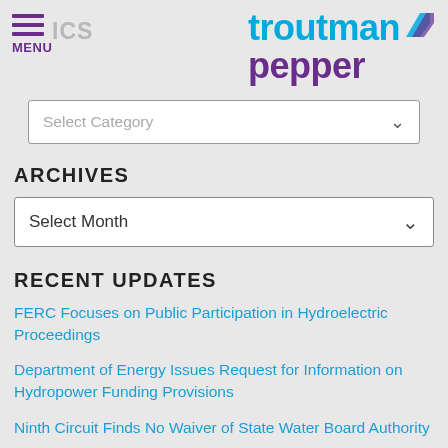MENU | troutman pepper
Select Category
ARCHIVES
Select Month
RECENT UPDATES
FERC Focuses on Public Participation in Hydroelectric Proceedings
Department of Energy Issues Request for Information on Hydropower Funding Provisions
Ninth Circuit Finds No Waiver of State Water Board Authority